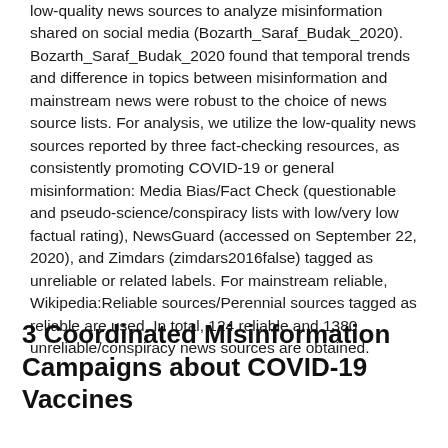low-quality news sources to analyze misinformation shared on social media (Bozarth_Saraf_Budak_2020). Bozarth_Saraf_Budak_2020 found that temporal trends and difference in topics between misinformation and mainstream news were robust to the choice of news source lists. For analysis, we utilize the low-quality news sources reported by three fact-checking resources, as consistently promoting COVID-19 or general misinformation: Media Bias/Fact Check (questionable and pseudo-science/conspiracy lists with low/very low factual rating), NewsGuard (accessed on September 22, 2020), and Zimdars (zimdars2016false) tagged as unreliable or related labels. For mainstream reliable, Wikipedia:Reliable sources/Perennial sources tagged as reliable are used. In total, 124 reliable and 1380 unreliable/conspiracy news sources are obtained.
3 Coordinated Misinformation Campaigns about COVID-19 Vaccines